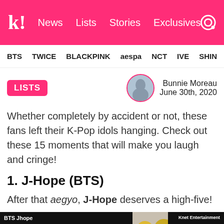k! News Lists Stories Exclusives
BTS TWICE BLACKPINK aespa NCT IVE SHIN
LISTS | Bunnie Moreau June 30th, 2020
Whether completely by accident or not, these fans left their K-Pop idols hanging. Check out these 15 moments that will make you laugh and cringe!
1. J-Hope (BTS)
After that aegyo, J-Hope deserves a high-five!
[Figure (photo): Video thumbnail showing BTS Jhope label on black background on left, yellow objects in center on beige background, and Knet Entertainment label on black background on right]